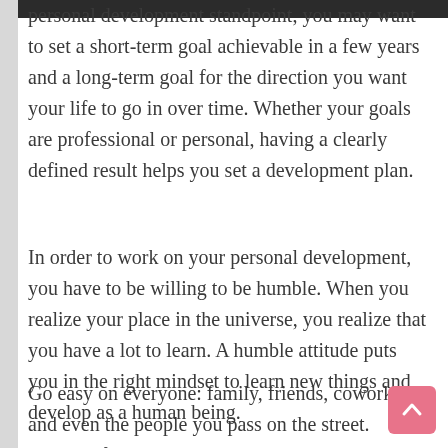personal development standpoint, you may want to set a short-term goal achievable in a few years and a long-term goal for the direction you want your life to go in over time. Whether your goals are professional or personal, having a clearly defined result helps you set a development plan.
In order to work on your personal development, you have to be willing to be humble. When you realize your place in the universe, you realize that you have a lot to learn. A humble attitude puts you in the right mindset to learn new things and develop as a human being.
Go easy on everyone: family, friends, coworkers, and even the people you pass on the street. Instead of choosing to see only the most unflattering or harsh